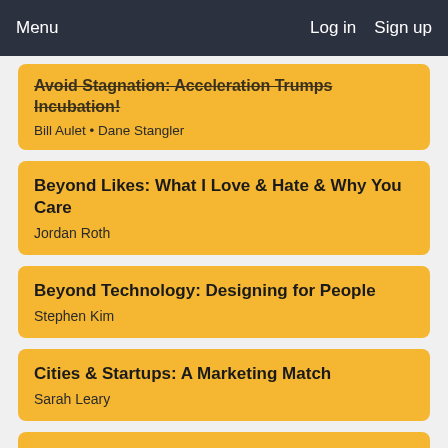Menu  Log in  Sign up
Avoid Stagnation: Acceleration Trumps Incubation! — Bill Aulet • Dane Stangler
Beyond Likes: What I Love & Hate & Why You Care — Jordan Roth
Beyond Technology: Designing for People — Stephen Kim
Cities & Startups: A Marketing Match — Sarah Leary
Citizen Dicks: Solving Murders with Social Media — Billy Jensen • Michelle McNamara
Companies, Non-Profits & the Future of Impact — Bryn Mooser • Chrysi Philalithes • Robert Wolfe